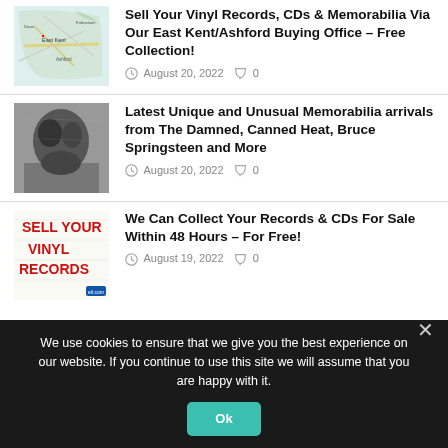[Figure (map): East Kent map thumbnail]
Sell Your Vinyl Records, CDs & Memorabilia Via Our East Kent/Ashford Buying Office – Free Collection!
August 20, 2022   0
[Figure (photo): Black and white music memorabilia photo]
Latest Unique and Unusual Memorabilia arrivals from The Damned, Canned Heat, Bruce Springsteen and More
August 20, 2022   0
[Figure (illustration): Sell Your Vinyl Records promotional image with red text on white background]
We Can Collect Your Records & CDs For Sale Within 48 Hours – For Free!
August 19, 2022   0
We use cookies to ensure that we give you the best experience on our website. If you continue to use this site we will assume that you are happy with it.